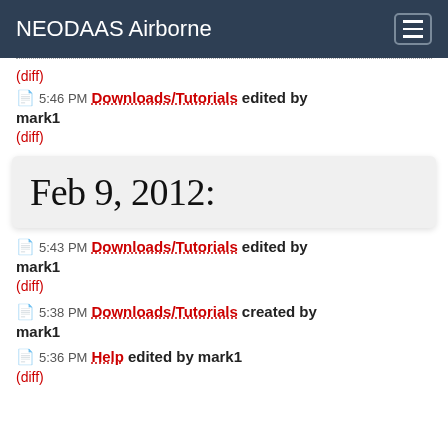NEODAAS Airborne
(diff)
5:46 PM Downloads/Tutorials edited by mark1
(diff)
Feb 9, 2012:
5:43 PM Downloads/Tutorials edited by mark1
(diff)
5:38 PM Downloads/Tutorials created by mark1
5:36 PM Help edited by mark1
(diff)